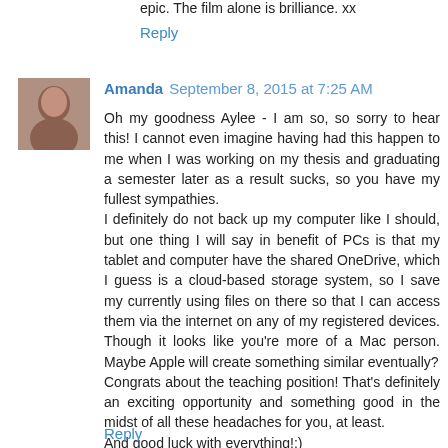epic. The film alone is brilliance. xx
Reply
Amanda  September 8, 2015 at 7:25 AM
Oh my goodness Aylee - I am so, so sorry to hear this! I cannot even imagine having had this happen to me when I was working on my thesis and graduating a semester later as a result sucks, so you have my fullest sympathies.
I definitely do not back up my computer like I should, but one thing I will say in benefit of PCs is that my tablet and computer have the shared OneDrive, which I guess is a cloud-based storage system, so I save my currently using files on there so that I can access them via the internet on any of my registered devices. Though it looks like you're more of a Mac person. Maybe Apple will create something similar eventually?
Congrats about the teaching position! That's definitely an exciting opportunity and something good in the midst of all these headaches for you, at least.
And good luck with everything!:)
Reply